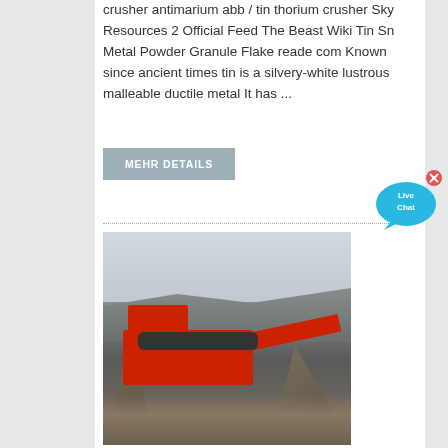crusher antimarium abb / tin thorium crusher Sky Resources 2 Official Feed The Beast Wiki Tin Sn Metal Powder Granule Flake reade com Known since ancient times tin is a silvery-white lustrous malleable ductile metal It has ...
[Figure (other): Live Chat bubble icon in cyan/blue color with 'Live Chat' text and a close (x) button]
[Figure (photo): A large red mobile jaw crusher machine on tracks, surrounded by gravel/aggregate piles at a quarry or crushing site, with hills and overcast sky in background]